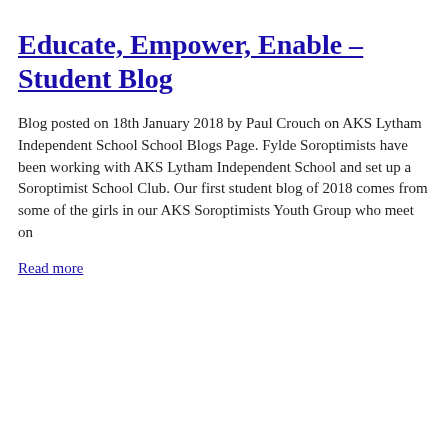Educate, Empower, Enable – Student Blog
Blog posted on 18th January 2018 by Paul Crouch on AKS Lytham Independent School School Blogs Page. Fylde Soroptimists have been working with AKS Lytham Independent School and set up a Soroptimist School Club. Our first student blog of 2018 comes from some of the girls in our AKS Soroptimists Youth Group who meet on
Read more